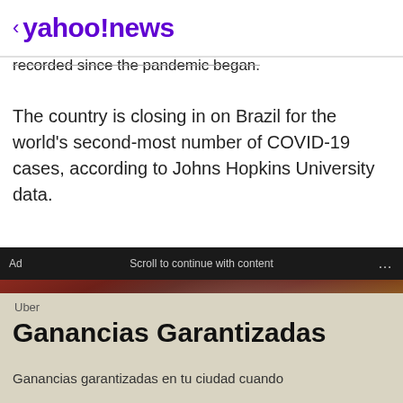< yahoo!news
recorded since the pandemic began.
The country is closing in on Brazil for the world's second-most number of COVID-19 cases, according to Johns Hopkins University data.
Ad   Scroll to continue with content   ...
[Figure (photo): Video advertisement showing a person in a red plaid skirt driving a car, with a play button overlay. Below the video is a dark bar.]
Uber
Ganancias Garantizadas
Ganancias garantizadas en tu ciudad cuando